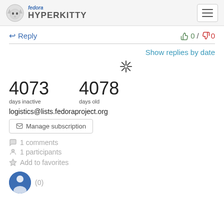fedora HYPERKITTY
↩ Reply
👍 0 / 👎 0
Show replies by date
4073 days inactive
4078 days old
logistics@lists.fedoraproject.org
Manage subscription
1 comments
1 participants
Add to favorites
(0)